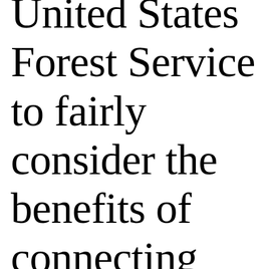United States Forest Service to fairly consider the benefits of connecting